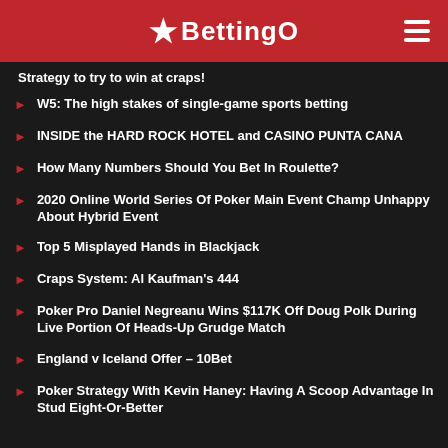BettingO
Strategy to try to win at craps!
W5: The high stakes of single-game sports betting
INSIDE the HARD ROCK HOTEL and CASINO PUNTA CANA
How Many Numbers Should You Bet In Roulette?
2020 Online World Series Of Poker Main Event Champ Unhappy About Hybrid Event
Top 5 Misplayed Hands in Blackjack
Craps System: Al Kaufman's 444
Poker Pro Daniel Negreanu Wins $117K Off Doug Polk During Live Portion Of Heads-Up Grudge Match
England v Iceland Offer – 10Bet
Poker Strategy With Kevin Haney: Having A Scoop Advantage In Stud Eight-Or-Better